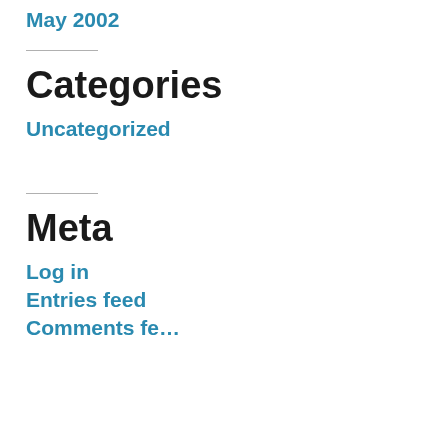May 2002
Categories
Uncategorized
Meta
Log in
Entries feed
Comments feed